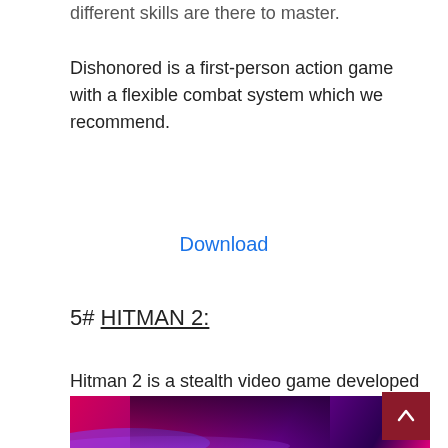different skills are there to master.
Dishonored is a first-person action game with a flexible combat system which we recommend.
Download
5# HITMAN 2:
Hitman 2 is a stealth video game developed by IO Interactive. It is a sequel to HITMAN released in 2016 and is considered as a major improvement over its predecessor.
[Figure (photo): Hitman 2 game cover art showing Agent 47 in a black suit aiming a silenced pistol, with a vibrant pink/magenta background]